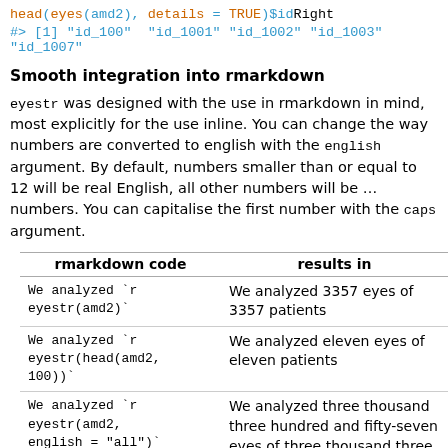head(eyes(amd2), details = TRUE)$idRight
#> [1] "id_100"  "id_1001" "id_1002" "id_1003" "id_1007"
Smooth integration into rmarkdown
eyestr was designed with the use in rmarkdown in mind, most explicitly for the use inline. You can change the way numbers are converted to english with the english argument. By default, numbers smaller than or equal to 12 will be real English, all other numbers will be … numbers. You can capitalise the first number with the caps argument.
| rmarkdown code | results in |
| --- | --- |
| We analyzed `r eyestr(amd2)` | We analyzed 3357 eyes of 3357 patients |
| We analyzed `r eyestr(head(amd2, 100))` | We analyzed eleven eyes of eleven patients |
| We analyzed `r eyestr(amd2, english = "all")` | We analyzed three thousand three hundred and fifty-seven eyes of three thousand three hundred and fifty-seven patients |
| `r eyestr(head(amd2, 100), caps = TRUE)` | Eleven eyes of eleven patients were analyzed |